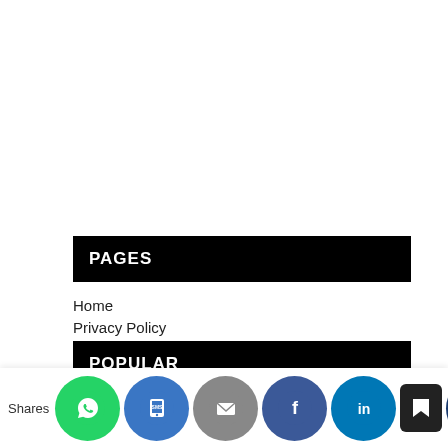PAGES
Home
Privacy Policy
POPULAR
[Figure (illustration): Thumbnail image showing Cryptocurrency vs Fiat currency graphic with logos and text]
Can Cryptocurrency replace Fiat currency
Jan 07,
[Figure (infographic): Social sharing bar with WhatsApp, phone, email, Facebook, LinkedIn, and crown/bookmark buttons. 'Shares' label on left.]